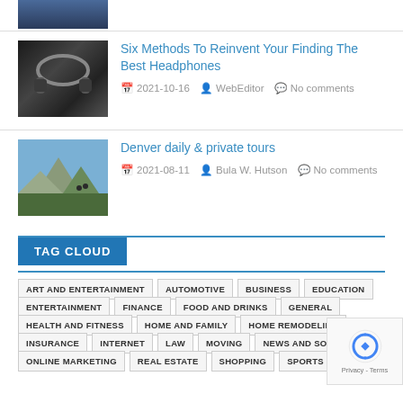[Figure (photo): Partial photo of a person in a suit at top of page]
[Figure (photo): Photo of black over-ear headphones on a surface]
Six Methods To Reinvent Your Finding The Best Headphones
2021-10-16   WebEditor   No comments
[Figure (photo): Photo of mountain landscape with hikers]
Denver daily & private tours
2021-08-11   Bula W. Hutson   No comments
TAG CLOUD
ART AND ENTERTAINMENT
AUTOMOTIVE
BUSINESS
EDUCATION
ENTERTAINMENT
FINANCE
FOOD AND DRINKS
GENERAL
HEALTH AND FITNESS
HOME AND FAMILY
HOME REMODELING
INSURANCE
INTERNET
LAW
MOVING
NEWS AND SOCIETY
ONLINE MARKETING
REAL ESTATE
SHOPPING
SPORTS